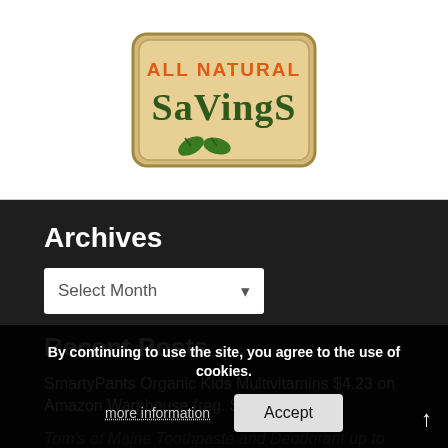[Figure (logo): All Natural Savings logo — beige/tan rounded rectangle with orange text 'ALL NATURAL' and dark green handwritten-style text 'SaVingS', with two green leaf icons at the bottom.]
Archives
Select Month
Recent Posts
SmartyPants Organic Kids Multivitamins $4.23 on Amazon Warehouse (reg. $30)
Tom's of Maine Toothpaste and Deodorant up to 55% off today only on Amazon
New Natural and Organic Printable Coupons- Tom's, Silk, Canyon
By continuing to use the site, you agree to the use of cookies.
more information
Accept